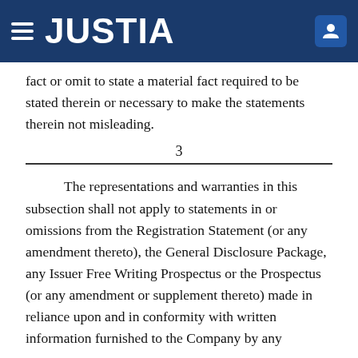JUSTIA
fact or omit to state a material fact required to be stated therein or necessary to make the statements therein not misleading.
3
The representations and warranties in this subsection shall not apply to statements in or omissions from the Registration Statement (or any amendment thereto), the General Disclosure Package, any Issuer Free Writing Prospectus or the Prospectus (or any amendment or supplement thereto) made in reliance upon and in conformity with written information furnished to the Company by any